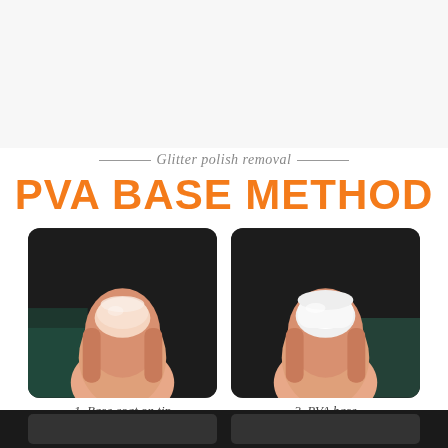Glitter polish removal
PVA BASE METHOD
[Figure (photo): Close-up photo of a fingernail with bare/natural nail showing base coat on tip, against dark background]
[Figure (photo): Close-up photo of a fingernail fully coated with white PVA base, against dark background]
1. Base coat on tip
2. PVA base